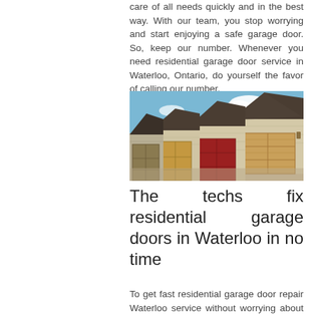care of all needs quickly and in the best way. With our team, you stop worrying and start enjoying a safe garage door. So, keep our number. Whenever you need residential garage door service in Waterloo, Ontario, do yourself the favor of calling our number.
[Figure (photo): A row of residential houses with garage doors in a suburban neighborhood. Multiple garage doors visible in tan, brown, and red colors under a blue sky.]
The techs fix residential garage doors in Waterloo in no time
To get fast residential garage door repair Waterloo service without worrying about the